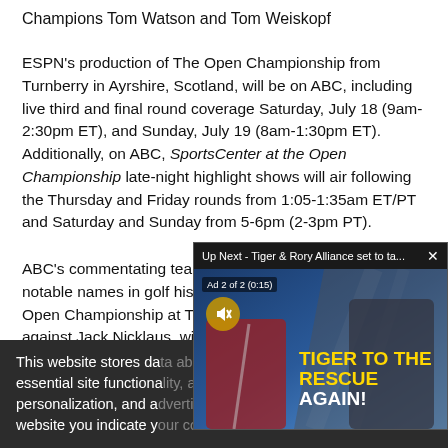Champions Tom Watson and Tom Weiskopf
ESPN's production of The Open Championship from Turnberry in Ayrshire, Scotland, will be on ABC, including live third and final round coverage Saturday, July 18 (9am-2:30pm ET), and Sunday, July 19 (8am-1:30pm ET). Additionally, on ABC, SportsCenter at the Open Championship late-night highlight shows will air following the Thursday and Friday rounds from 1:05-1:35am ET/PT and Saturday and Sunday from 5-6pm (2-3pm PT).
ABC's commentating team includes some of the most notable names in golf history. Tom Watson, who won the Open Championship at Turnberry in 1977 in a classic duel against Jack Nicklaus, will work with T... Open Championship. W...
[Figure (screenshot): Video popup overlay: 'Up Next - Tiger & Rory Alliance set to ta...' with close button, 'Ad 2 of 2 (0:15)' label, mute button, image of Tiger Woods in red Nike shirt and another person, text overlay 'TIGER TO THE RESCUE AGAIN!' in gold and white bold text]
This website stores da... essential site functiona... personalization, and a... website you indicate y...